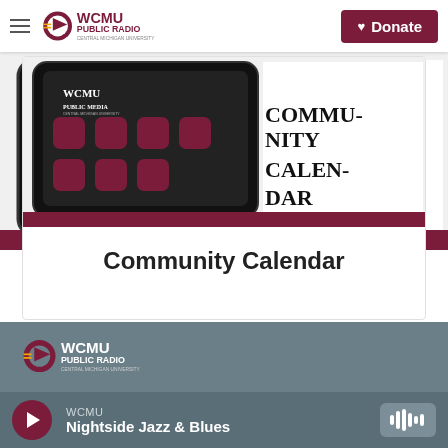WCMU Public Radio — Navigation bar with Donate button
[Figure (screenshot): Community Calendar promotional image with WCMU Public Media logo and bold text reading COMMUNITY CALENDAR on a dark background]
Community Calendar
[Figure (logo): WCMU Public Radio logo with Central Michigan University flying C and WCMU Public Radio text]
WCMU
Nightside Jazz & Blues